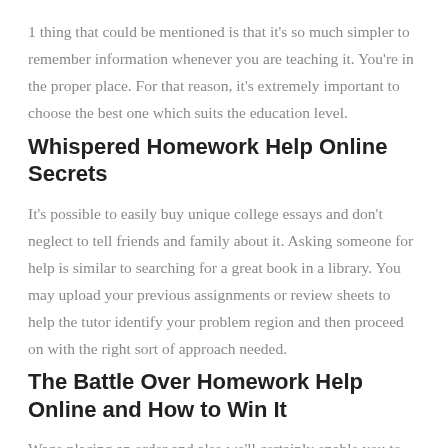1 thing that could be mentioned is that it's so much simpler to remember information whenever you are teaching it. You're in the proper place. For that reason, it's extremely important to choose the best one which suits the education level.
Whispered Homework Help Online Secrets
It's possible to easily buy unique college essays and don't neglect to tell friends and family about it. Asking someone for help is similar to searching for a great book in a library. You may upload your previous assignments or review sheets to help the tutor identify your problem region and then proceed on with the right sort of approach needed.
The Battle Over Homework Help Online and How to Win It
Wage placing an order and also we'll certainly enable you to